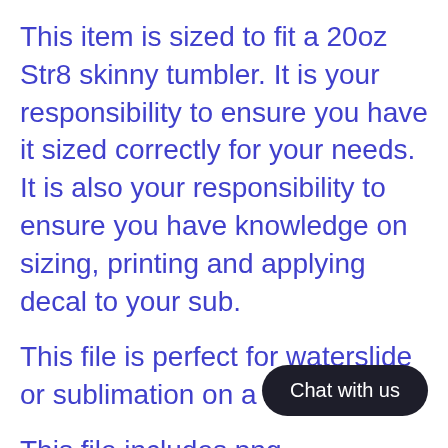This item is sized to fit a 20oz Str8 skinny tumbler. It is your responsibility to ensure you have it sized correctly for your needs. It is also your responsibility to ensure you have knowledge on sizing, printing and applying decal to your sub.
This file is perfect for waterslide or sublimation on a tumbler.
This file includes png.
These files are meant for full color printing, not vinyl.
-PLEASE check to ensure that [the file you] need is included prior to purchasing